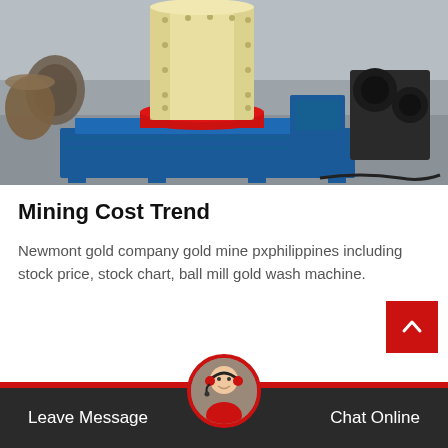[Figure (photo): Industrial mining mill machine with cream/yellow cylindrical body, red ring accent, blue metal base frame, photographed in a factory/workshop setting.]
Mining Cost Trend
Newmont gold company gold mine pxphilippines including stock price, stock chart, ball mill gold wash machine.
[Figure (other): Red scroll-to-top button with upward chevron arrow.]
Leave Message  Chat Online